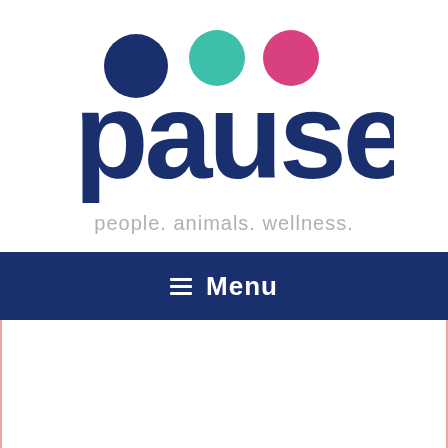[Figure (logo): Pause logo with three colored dots (dark blue, teal/green, pink) above the word 'pause' in dark navy bold lowercase letters, with tagline 'people. animals. wellness.' in light gray below]
☰  Menu